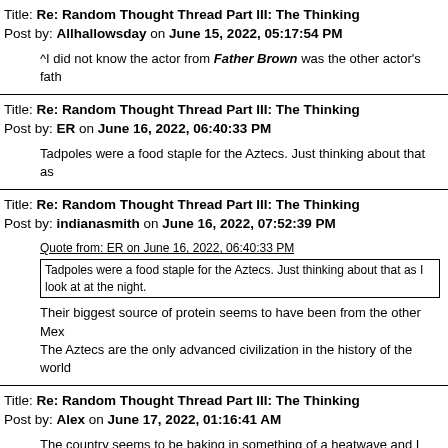Title: Re: Random Thought Thread Part III: The Thinking
Post by: Allhallowsday on June 15, 2022, 05:17:54 PM
^I did not know the actor from Father Brown was the other actor's fath
Title: Re: Random Thought Thread Part III: The Thinking
Post by: ER on June 16, 2022, 06:40:33 PM
Tadpoles were a food staple for the Aztecs. Just thinking about that as
Title: Re: Random Thought Thread Part III: The Thinking
Post by: indianasmith on June 16, 2022, 07:52:39 PM
Quote from: ER on June 16, 2022, 06:40:33 PM
Tadpoles were a food staple for the Aztecs. Just thinking about that as I look at at the night.
Their biggest source of protein seems to have been from the other Mex
The Aztecs are the only advanced civilization in the history of the world
Title: Re: Random Thought Thread Part III: The Thinking
Post by: Alex on June 17, 2022, 01:16:41 AM
The country seems to be baking in something of a heatwave and I am s
Title: Re: Random Thought Thread Part III: The Thinking
Post by: ER on June 17, 2022, 06:43:19 AM